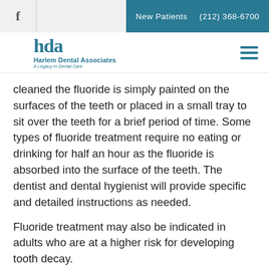f | New Patients  (212) 368-6700
[Figure (logo): Harlem Dental Associates logo with 'hd' icon in teal and tagline 'A Legacy In Dental Care']
cleaned the fluoride is simply painted on the surfaces of the teeth or placed in a small tray to sit over the teeth for a brief period of time. Some types of fluoride treatment require no eating or drinking for half an hour as the fluoride is absorbed into the surface of the teeth. The dentist and dental hygienist will provide specific and detailed instructions as needed.
Fluoride treatment may also be indicated in adults who are at a higher risk for developing tooth decay.
Return to Library